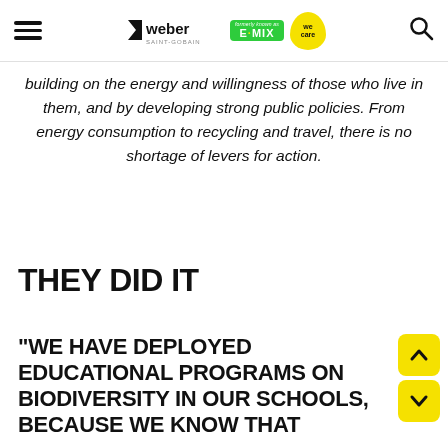weber Saint-Gobain | formerly known as E·MIX | we care
building on the energy and willingness of those who live in them, and by developing strong public policies. From energy consumption to recycling and travel, there is no shortage of levers for action.
THEY DID IT
“WE HAVE DEPLOYED EDUCATIONAL PROGRAMS ON BIODIVERSITY IN OUR SCHOOLS, BECAUSE WE KNOW THAT